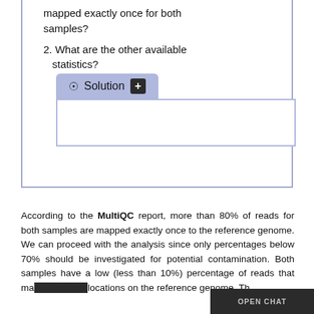mapped exactly once for both samples?
2. What are the other available statistics?
[Figure (screenshot): Solution tab UI element with eye icon and plus button, with empty white content area below]
According to the MultiQC report, more than 80% of reads for both samples are mapped exactly once to the reference genome. We can proceed with the analysis since only percentages below 70% should be investigated for potential contamination. Both samples have a low (less than 10%) percentage of reads that map to multiple locations on the reference genome. Th